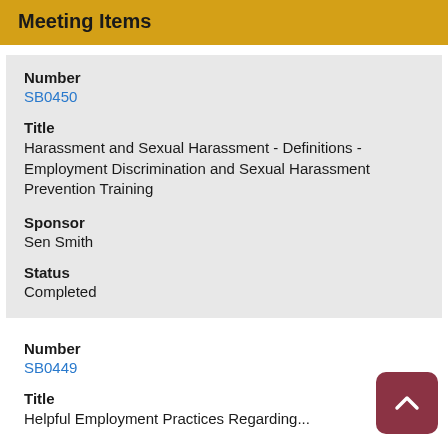Meeting Items
Number
SB0450
Title
Harassment and Sexual Harassment - Definitions - Employment Discrimination and Sexual Harassment Prevention Training
Sponsor
Sen Smith
Status
Completed
Number
SB0449
Title
Helpful Employment Practices Regarding...